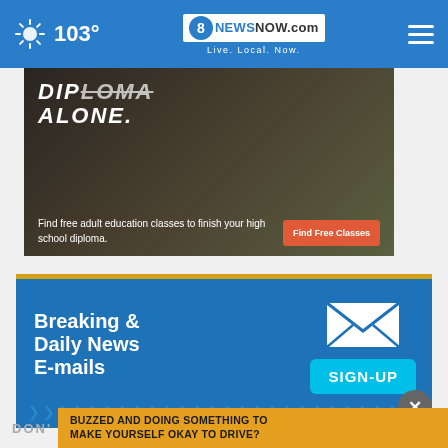103° | 8NewsNow.com Live. Local. Now.
[Figure (photo): Advertisement banner showing adult education with text 'DIPLOMA ALONE. Find free adult education classes to finish your high school diploma.' and a 'Find Free Classes' button]
[Figure (infographic): Breaking & Daily News E-mails newsletter signup section with envelope icon and SIGN-UP button on blue background]
DON'T
BUZZED AND DOING SOMETHING TO MAKE YOURSELF OKAY TO DRIVE?